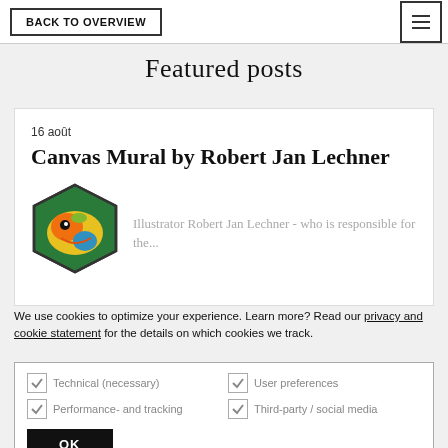BACK TO OVERVIEW
Featured posts
16 août
Canvas Mural by Robert Jan Lechner
[Figure (illustration): Hexagonal illustration with colorful abstract animal/creature design in green, yellow, orange and blue]
Illustrator Robert Jan Lechner - who is responsible for the...
We use cookies to optimize your experience. Learn more? Read our privacy and cookie statement for the details on which cookies we track.
Technical (necessary) | User preferences | Performance- and tracking | Third-party / social media | OK